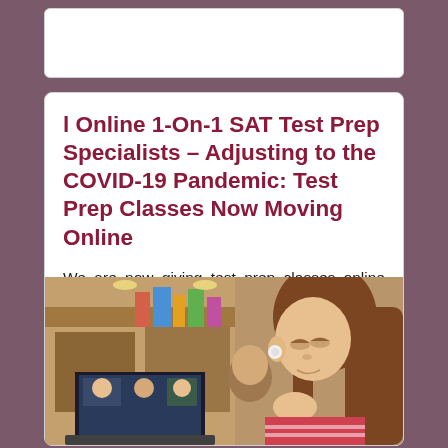l Online 1-On-1 SAT Test Prep Specialists – Adjusting to the COVID-19 Pandemic: Test Prep Classes Now Moving Online
We are now giving test prep classes online through Zoom. The length and the cost of the online test prep classes are the same as the usual in-person test prep sessions.
[Figure (photo): A young woman with earbuds looking at a tablet/laptop screen in a busy indoor setting, appearing to attend an online class]